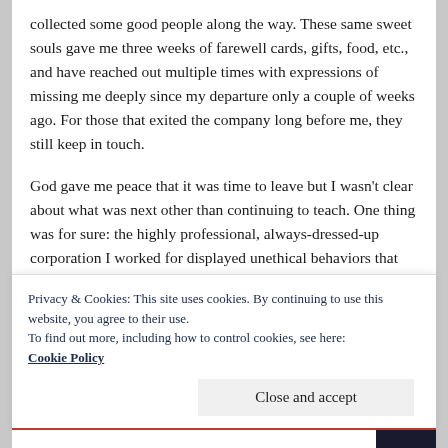collected some good people along the way. These same sweet souls gave me three weeks of farewell cards, gifts, food, etc., and have reached out multiple times with expressions of missing me deeply since my departure only a couple of weeks ago. For those that exited the company long before me, they still keep in touch.
God gave me peace that it was time to leave but I wasn't clear about what was next other than continuing to teach. One thing was for sure: the highly professional, always-dressed-up corporation I worked for displayed unethical behaviors that really disgusted me. Little did I
Privacy & Cookies: This site uses cookies. By continuing to use this website, you agree to their use.
To find out more, including how to control cookies, see here: Cookie Policy